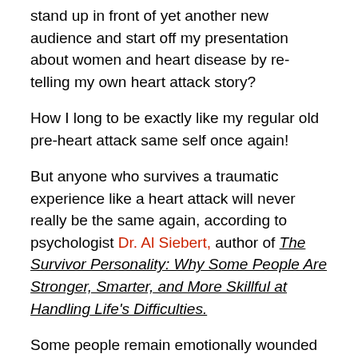stand up in front of yet another new audience and start off my presentation about women and heart disease by re-telling my own heart attack story?
How I long to be exactly like my regular old pre-heart attack same self once again!
But anyone who survives a traumatic experience like a heart attack will never really be the same again, according to psychologist Dr. Al Siebert, author of The Survivor Personality: Why Some People Are Stronger, Smarter, and More Skillful at Handling Life's Difficulties.
Some people remain emotionally wounded for life after a medical crisis, he explains. They relive and re-experience distressing and frightening moments again and again. Others recover fairly well over time, often with the help of an accommodating family and friends or appropriate